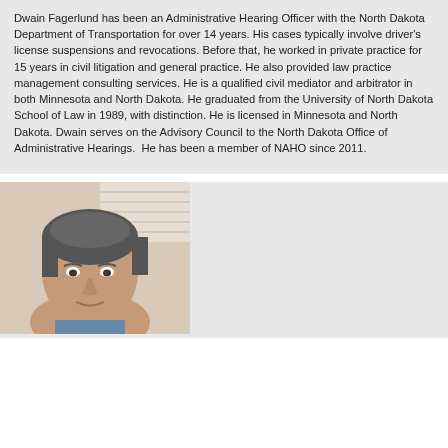Dwain Fagerlund has been an Administrative Hearing Officer with the North Dakota Department of Transportation for over 14 years. His cases typically involve driver's license suspensions and revocations. Before that, he worked in private practice for 15 years in civil litigation and general practice. He also provided law practice management consulting services. He is a qualified civil mediator and arbitrator in both Minnesota and North Dakota. He graduated from the University of North Dakota School of Law in 1989, with distinction. He is licensed in Minnesota and North Dakota. Dwain serves on the Advisory Council to the North Dakota Office of Administrative Hearings.  He has been a member of NAHO since 2011.
[Figure (photo): Headshot photo of a person with short dark gray hair, appears to be indoors with blinds visible in background.]